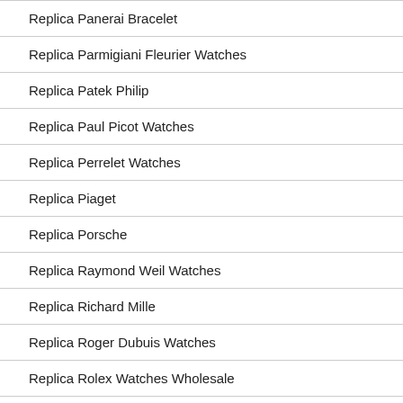Replica Panerai Bracelet
Replica Parmigiani Fleurier Watches
Replica Patek Philip
Replica Paul Picot Watches
Replica Perrelet Watches
Replica Piaget
Replica Porsche
Replica Raymond Weil Watches
Replica Richard Mille
Replica Roger Dubuis Watches
Replica Rolex Watches Wholesale